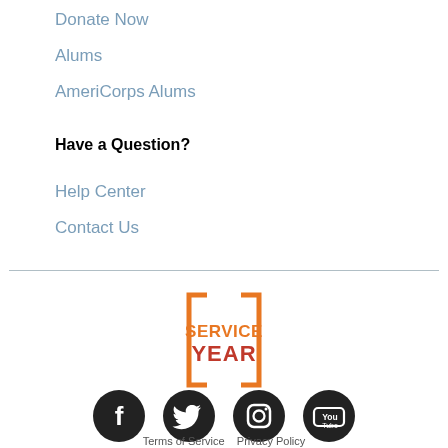Donate Now
Alums
AmeriCorps Alums
Have a Question?
Help Center
Contact Us
[Figure (logo): Service Year logo — orange square bracket frame with 'SERVICE YEAR' text in orange and dark red]
[Figure (infographic): Row of four social media icons: Facebook, Twitter, Instagram, YouTube — dark circular buttons]
Terms of Service   Privacy Policy